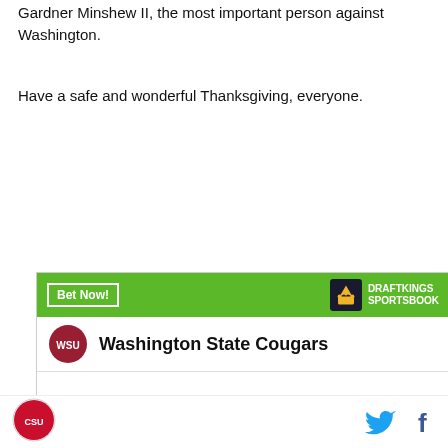Gardner Minshew II, the most important person against Washington.
Have a safe and wonderful Thanksgiving, everyone.
[Figure (infographic): DraftKings Sportsbook betting widget showing Washington State Cougars with odds +30000 to win National Championship]
Colorado State Rams logo, Twitter icon, Facebook icon